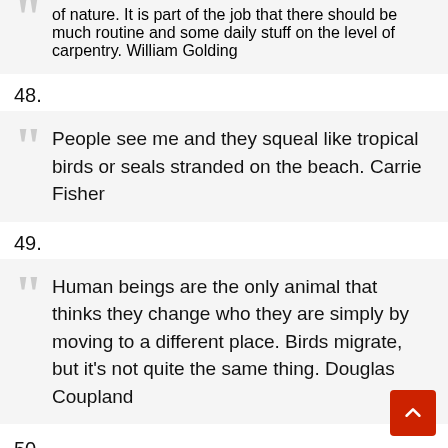of nature. It is part of the job that there should be much routine and some daily stuff on the level of carpentry. William Golding
48.
People see me and they squeal like tropical birds or seals stranded on the beach. Carrie Fisher
49.
Human beings are the only animal that thinks they change who they are simply by moving to a different place. Birds migrate, but it's not quite the same thing. Douglas Coupland
50.